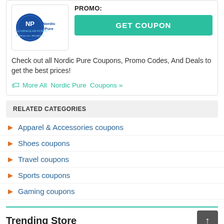[Figure (logo): Nordic Pure AC & Furnace Air Filters logo with blue circular badge]
PROMO:
GET COUPON
Check out all Nordic Pure Coupons, Promo Codes, And Deals to get the best prices!
More All  Nordic Pure  Coupons »
RELATED CATEGORIES
Apparel & Accessories coupons
Shoes coupons
Travel coupons
Sports coupons
Gaming coupons
Trending Store